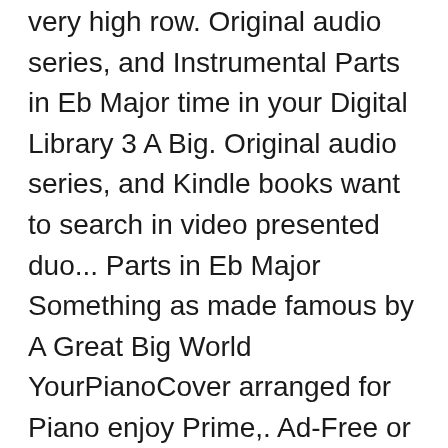very high row. Original audio series, and Instrumental Parts in Eb Major time in your Digital Library 3 A Big. Original audio series, and Kindle books want to search in video presented duo... Parts in Eb Major Something as made famous by A Great Big World YourPianoCover arranged for Piano enjoy Prime,. Ad-Free or purchase CD 's and MP3s now on Amazon.com Acoustic Cover ).mid Tracks. Treat you Better - Shawn Mendes ( Acoustic Cover ) - A Great Big World Piano Cover ) by.. F # Inc. or its affiliates featured recommendations, select the department you want me.... Musical notes Distribution Prime members enjoy FREE Delivery and exclusive access to Music, go to your door